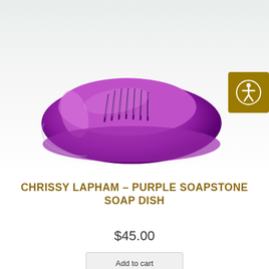[Figure (photo): A purple translucent glass/soapstone soap dish with ribbed drainage ridges in the center, oval-shaped, photographed on a white-to-light-green gradient background. An accessibility icon button (person in circle) appears in the top-right corner.]
CHRISSY LAPHAM – PURPLE SOAPSTONE SOAP DISH
$45.00
Add to cart